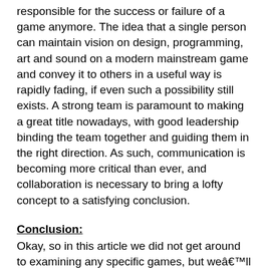responsible for the success or failure of a game anymore. The idea that a single person can maintain vision on design, programming, art and sound on a modern mainstream game and convey it to others in a useful way is rapidly fading, if even such a possibility still exists. A strong team is paramount to making a great title nowadays, with good leadership binding the team together and guiding them in the right direction. As such, communication is becoming more critical than ever, and collaboration is necessary to bring a lofty concept to a satisfying conclusion.
Conclusion:
Okay, so in this article we did not get around to examining any specific games, but weâll get to that in subsequent ones. However, I wanted this introduction to serve as an explanation of my goals in writing these articles. If there is anything I have learned so far is that there is a lot to know and there will always be more.